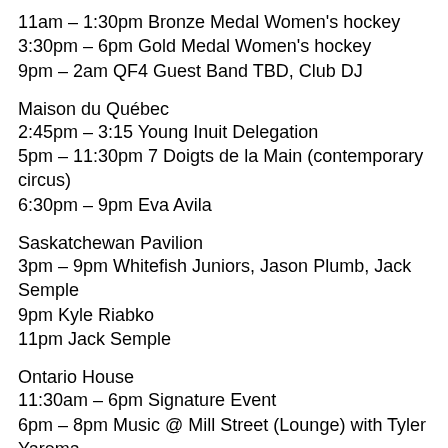11am – 1:30pm Bronze Medal Women's hockey
3:30pm – 6pm Gold Medal Women's hockey
9pm – 2am QF4 Guest Band TBD, Club DJ
Maison du Québec
2:45pm – 3:15 Young Inuit Delegation
5pm – 11:30pm 7 Doigts de la Main (contemporary circus)
6:30pm – 9pm Eva Avila
Saskatchewan Pavilion
3pm – 9pm Whitefish Juniors, Jason Plumb, Jack Semple
9pm Kyle Riabko
11pm Jack Semple
Ontario House
11:30am – 6pm Signature Event
6pm – 8pm Music @ Mill Street (Lounge) with Tyler Yarema
10pm – 2am Performance: The Wooden Sky, Transition